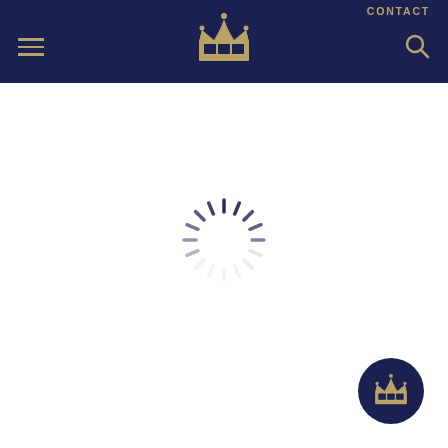CONTACT
[Figure (logo): Royal crown logo in gold on navy blue navigation bar with hamburger menu icon on left and search icon on right]
[Figure (other): Loading spinner - circular arrangement of dark tick marks forming a spinner/loading indicator]
[Figure (logo): Circular floating action button with navy blue background containing a gold royal crown icon, positioned bottom right]